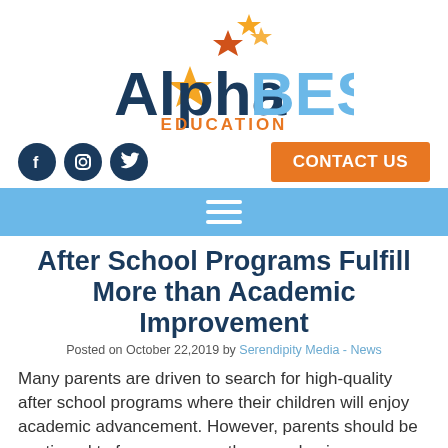[Figure (logo): AlphaBEST Education logo with star icons above text. 'Alpha' in dark navy bold, 'BEST' in light blue bold, 'EDUCATION' in orange below.]
[Figure (infographic): Social media icons row (Facebook, Instagram, Twitter) as white icons on dark navy circles, and an orange 'CONTACT US' button on the right.]
[Figure (other): Light blue navigation bar with a white hamburger menu icon (three horizontal lines) centered.]
After School Programs Fulfill More than Academic Improvement
Posted on October 22,2019 by Serendipity Media - News
Many parents are driven to search for high-quality after school programs where their children will enjoy academic advancement. However, parents should be cautioned to focus on more than academic achievement for